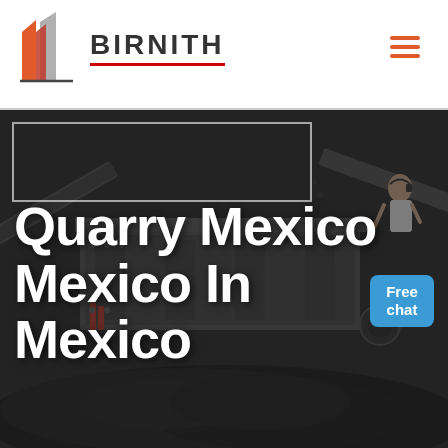BIRNITH
[Figure (photo): Industrial quarry crushing station machinery with conveyor belts and piles of crushed stone/coal, dark moody industrial scene]
Quarry Mexico Mexico In Mexico